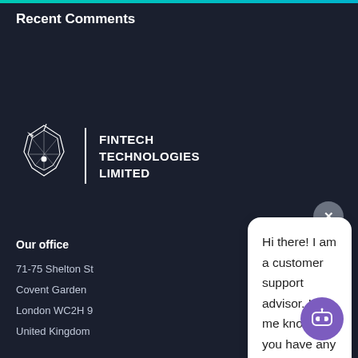Recent Comments
[Figure (logo): Fintech Technologies Limited logo with a geometric horse/unicorn head SVG and company name]
Our office
71-75 Shelton St
Covent Garden
London WC2H 9
United Kingdom
Hi there! I am a customer support advisor. Let me know if you have any questions or need assistance, ok?